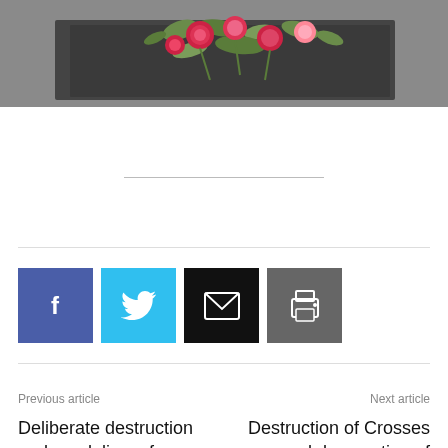[Figure (photo): Photograph showing flowers (roses and greenery) laid on a dark flat gravestone or memorial surface, viewed from above.]
Previous article
Deliberate destruction and vandalism of Armenian cultural monuments by Azerbaijan's armed forces
Next article
Destruction of Crosses and desecration of churches